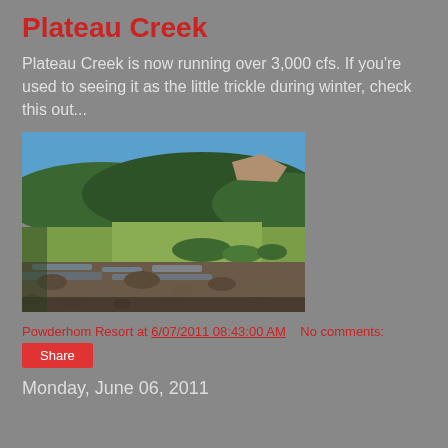Plateau Creek
Plateau Creek is now running over 3,000 cfs. If you're used to seeing it as the little trickle during winter, check this out...
[Figure (photo): Photograph of Plateau Creek running high with rocky streambed in foreground, green meadow in middle ground, and tree-covered hillside in background under blue sky.]
Powderhom Resort at 6/07/2011 08:43:00 AM    No comments:
Share
Monday, June 06, 2011